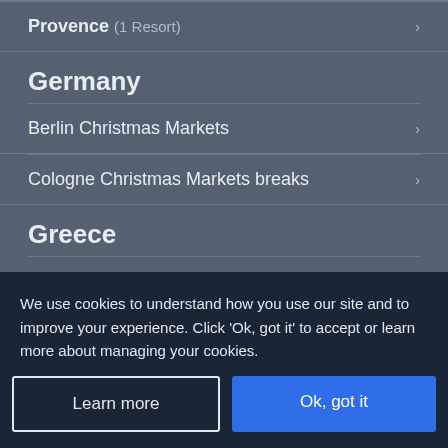Provence (1 Resort)
Germany
Berlin Christmas Markets
Cologne Christmas Markets breaks
Greece
Alonissos (5 Resorts)
We use cookies to understand how you use our site and to improve your experience. Click 'Ok, got it' to accept or learn more about managing your cookies.